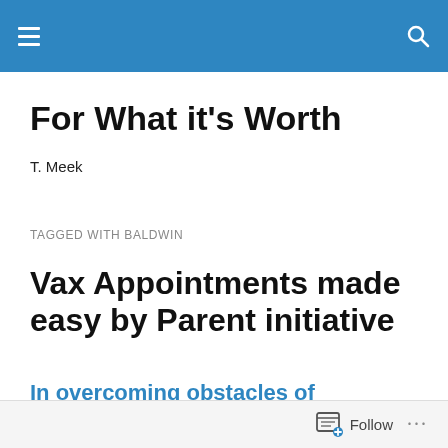For What it's Worth
T. Meek
TAGGED WITH BALDWIN
Vax Appointments made easy by Parent initiative
In overcoming obstacles of vaccination
Follow